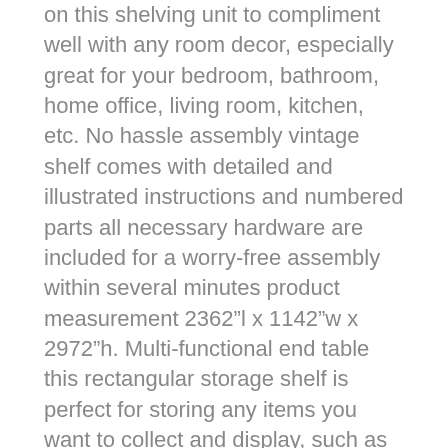on this shelving unit to compliment well with any room decor, especially great for your bedroom, bathroom, home office, living room, kitchen, etc. No hassle assembly vintage shelf comes with detailed and illustrated instructions and numbered parts all necessary hardware are included for a worry-free assembly within several minutes product measurement 2362"l x 1142"w x 2972"h. Multi-functional end table this rectangular storage shelf is perfect for storing any items you want to collect and display, such as some photos, houseplants, and travel collectibles, or you can use the the shelf as a bookcase. Considerate customer service we offer professional customer service before and after your purchase if for any reason there is an issue with the purchase, please simply contact us and we will help you resolve any issue. Built for extended use different from other shelf with pvc legs, this standing shelf unit is made of